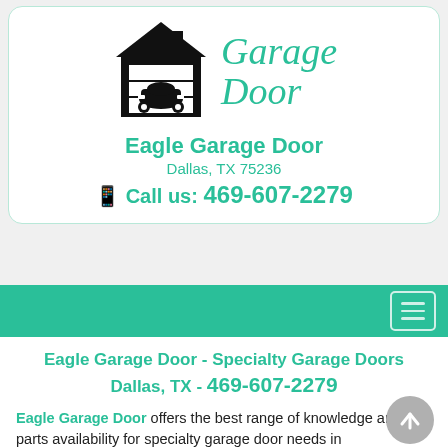[Figure (logo): Eagle Garage Door logo with house/garage icon and stylized text 'Garage Door' in teal italic serif font]
Eagle Garage Door
Dallas, TX 75236
Call us: 469-607-2279
Eagle Garage Door - Specialty Garage Doors Dallas, TX - 469-607-2279
Eagle Garage Door offers the best range of knowledge and parts availability for specialty garage door needs in